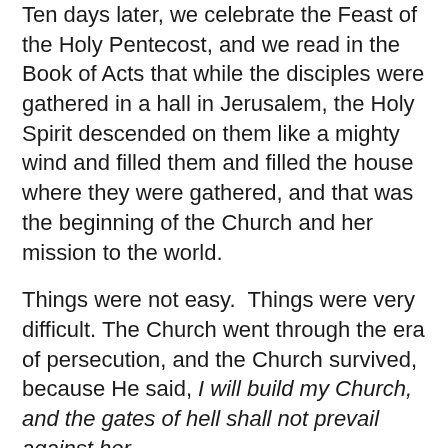Ten days later, we celebrate the Feast of the Holy Pentecost, and we read in the Book of Acts that while the disciples were gathered in a hall in Jerusalem, the Holy Spirit descended on them like a mighty wind and filled them and filled the house where they were gathered, and that was the beginning of the Church and her mission to the world.
Things were not easy.  Things were very difficult. The Church went through the era of persecution, and the Church survived, because He said, I will build my Church, and the gates of hell shall not prevail against her.
I was very moved this morning by the address of our venerable Chairman about our problems in this country, the different practices which we